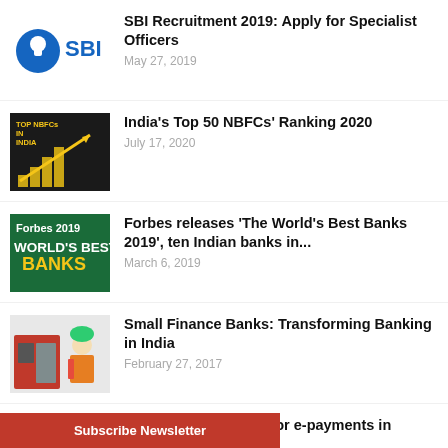[Figure (logo): SBI bank logo with circular emblem and SBI text in blue]
SBI Recruitment 2019: Apply for Specialist Officers
May 27, 2019
[Figure (illustration): TOP NBFCs IN INDIA bar chart graphic with gold bars and upward arrow]
India's Top 50 NBFCs' Ranking 2020
July 17, 2020
[Figure (photo): Forbes 2019 World's Best Banks green and gold graphic]
Forbes releases 'The World's Best Banks 2019', ten Indian banks in...
March 6, 2019
[Figure (illustration): Small Finance Banks illustration with cartoon bank character]
Small Finance Banks: Transforming Banking in India
February 27, 2017
[Figure (photo): Bharti Airtel storefront photo]
Airtel partners HPCL for e-payments in ...hra
Subscribe Newsletter